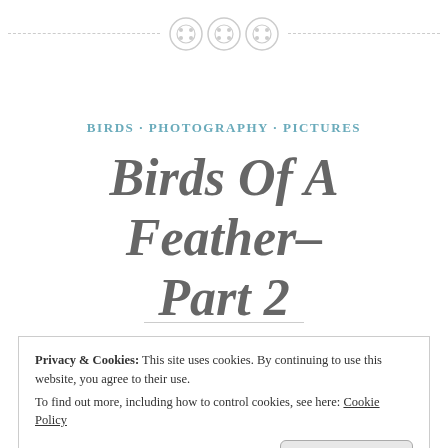[Figure (illustration): Decorative header with dashed horizontal lines and three button/circle icons in the center]
BIRDS · PHOTOGRAPHY · PICTURES
Birds Of A Feather– Part 2
Privacy & Cookies: This site uses cookies. By continuing to use this website, you agree to their use.
To find out more, including how to control cookies, see here: Cookie Policy
Close and accept
…watching the flock in…